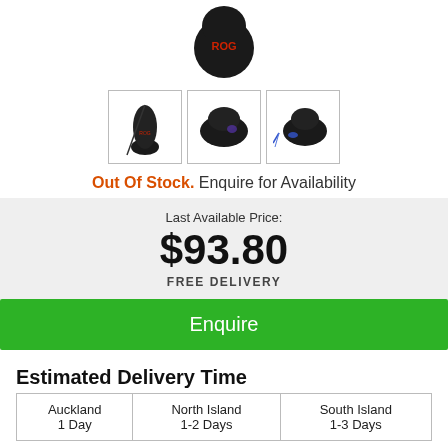[Figure (photo): Top portion of a black ASUS ROG gaming mouse with red ROG logo, viewed from above]
[Figure (photo): Three thumbnail images of gaming mice in bordered boxes]
Out Of Stock. Enquire for Availability
Last Available Price:
$93.80
FREE DELIVERY
Enquire
Estimated Delivery Time
| Auckland | North Island | South Island |
| --- | --- | --- |
| 1 Day | 1-2 Days | 1-3 Days |